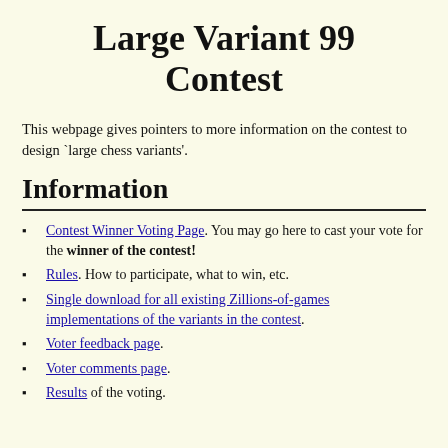Large Variant 99 Contest
This webpage gives pointers to more information on the contest to design `large chess variants'.
Information
Contest Winner Voting Page. You may go here to cast your vote for the winner of the contest!
Rules. How to participate, what to win, etc.
Single download for all existing Zillions-of-games implementations of the variants in the contest.
Voter feedback page.
Voter comments page.
Results of the voting.